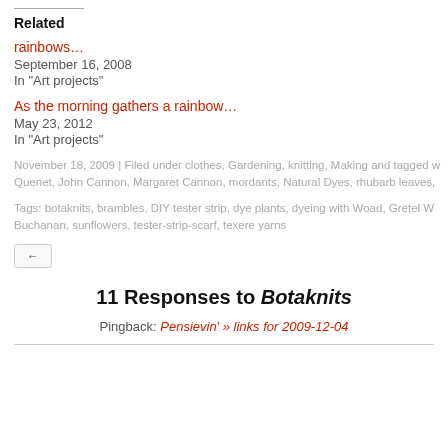Related
rainbows…
September 16, 2008
In "Art projects"
As the morning gathers a rainbow…
May 23, 2012
In "Art projects"
November 18, 2009 | Filed under clothes, Gardening, knitting, Making and tagged … Quenet, John Cannon, Margaret Cannon, mordants, Natural Dyes, rhubarb leaves,
Tags: botaknits, brambles, DIY tester strip, dye plants, dyeing with Woad, Gretel W… Buchanan, sunflowers, tester-strip-scarf, texere yarns
←
11 Responses to Botaknits
Pingback: Pensievin' » links for 2009-12-04